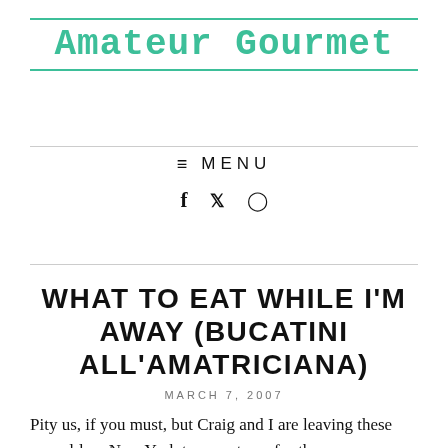Amateur Gourmet
≡ MENU
f  𝕏  🔲
WHAT TO EAT WHILE I'M AWAY (BUCATINI ALL'AMATRICIANA)
MARCH 7, 2007
Pity us, if you must, but Craig and I are leaving these record-low New York temperatures for the